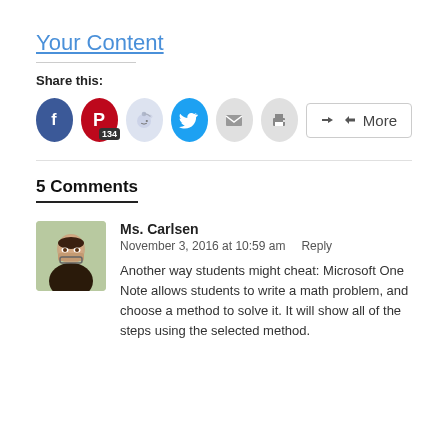Your Content
Share this:
[Figure (other): Social share buttons: Facebook, Pinterest (134), Reddit, Twitter, Email, Print, More]
5 Comments
[Figure (photo): Profile photo of Ms. Carlsen, a woman with glasses]
Ms. Carlsen
November 3, 2016 at 10:59 am    Reply
Another way students might cheat: Microsoft One Note allows students to write a math problem, and choose a method to solve it. It will show all of the steps using the selected method.